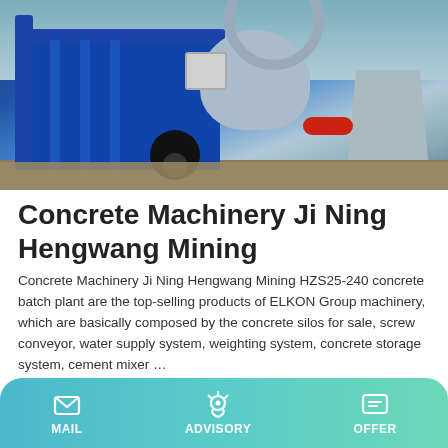[Figure (photo): Blue concrete batch plant / mixer machinery on a construction site outdoors, with cylindrical drum, hopper, and red pipe visible.]
Concrete Machinery Ji Ning Hengwang Mining
Concrete Machinery Ji Ning Hengwang Mining HZS25-240 concrete batch plant are the top-selling products of ELKON Group machinery, which are basically composed by the concrete silos for sale, screw conveyor, water supply system, weighting system, concrete storage system, cement mixer …
Learn More
MAIL   ADVISORY   OFFER